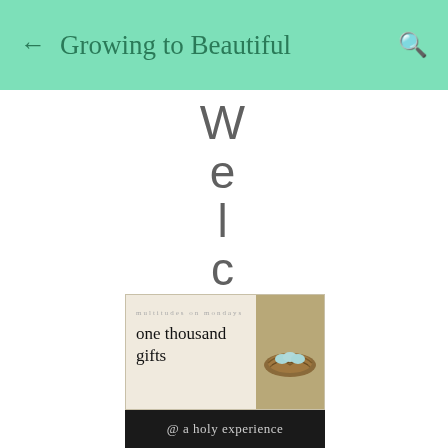← Growing to Beautiful 🔍
Welcome
[Figure (photo): Banner image with cream background showing 'multitudes on mondays' text above 'one thousand gifts' in cursive script, with a bird's nest containing blue eggs on the right side, and a dark strip at the bottom with 'a holy experience' in cursive]